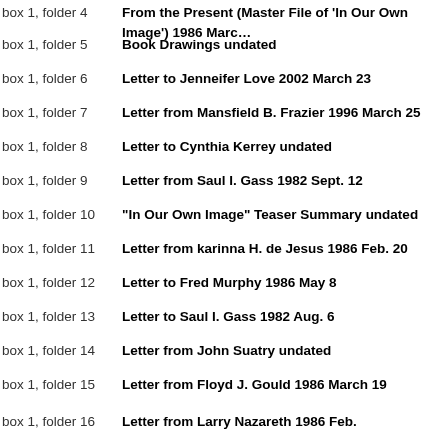box 1, folder 4 — From the Present (Master File of 'In Our Own Image') 1986 Marc…
box 1, folder 5 — Book Drawings undated
box 1, folder 6 — Letter to Jenneifer Love 2002 March 23
box 1, folder 7 — Letter from Mansfield B. Frazier 1996 March 25
box 1, folder 8 — Letter to Cynthia Kerrey undated
box 1, folder 9 — Letter from Saul I. Gass 1982 Sept. 12
box 1, folder 10 — "In Our Own Image" Teaser Summary undated
box 1, folder 11 — Letter from karinna H. de Jesus 1986 Feb. 20
box 1, folder 12 — Letter to Fred Murphy 1986 May 8
box 1, folder 13 — Letter to Saul I. Gass 1982 Aug. 6
box 1, folder 14 — Letter from John Suatry undated
box 1, folder 15 — Letter from Floyd J. Gould 1986 March 19
box 1, folder 16 — Letter from Larry Nazareth 1986 Feb.